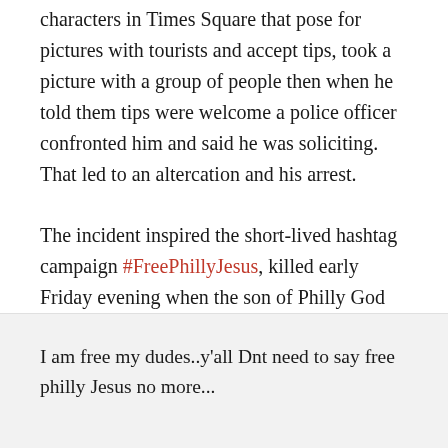characters in Times Square that pose for pictures with tourists and accept tips, took a picture with a group of people then when he told them tips were welcome a police officer confronted him and said he was soliciting. That led to an altercation and his arrest.
The incident inspired the short-lived hashtag campaign #FreePhillyJesus, killed early Friday evening when the son of Philly God rose once again to tweet, "I am free my dudes."
I am free my dudes..y'all Dnt need to say free philly Jesus no more...